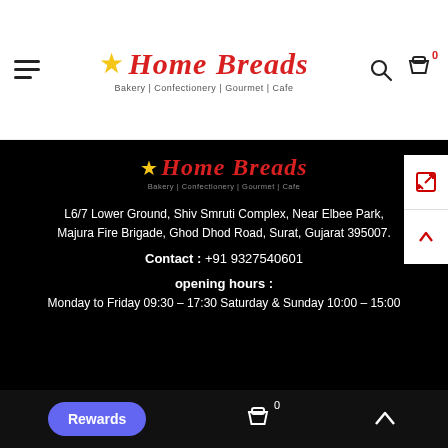Home Breads — Bakery | Confectionery | Gourmet | Cafe
[Figure (logo): Home Breads logo with star, red italic text, subtitle: Bakery | Confectionery | Gourmet | Cafe]
L6/7 Lower Ground, Shiv Smruti Complex, Near Elbee Park, Majura Fire Brigade, Ghod Dhod Road, Surat, Gujarat 395007.
Contact : +91 9327540601
opening hours :
Monday to Friday 09:30 – 17:30 Saturday & Sunday 10:00 – 15:00